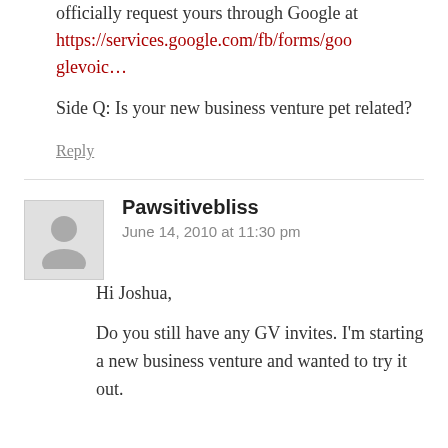officially request yours through Google at https://services.google.com/fb/forms/googlevoic...
Side Q: Is your new business venture pet related?
Reply
Pawsitivebliss
June 14, 2010 at 11:30 pm
Hi Joshua,
Do you still have any GV invites. I'm starting a new business venture and wanted to try it out.